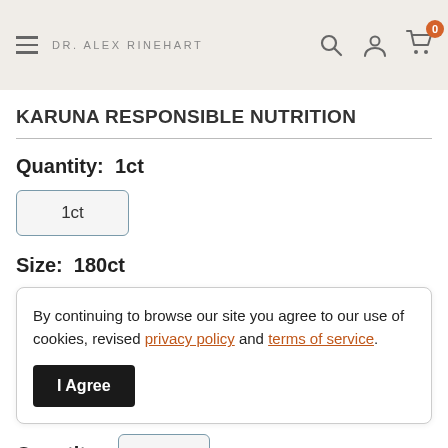DR. ALEX RINEHART
KARUNA RESPONSIBLE NUTRITION
Quantity: 1ct
1ct
Size: 180ct
By continuing to browse our site you agree to our use of cookies, revised privacy policy and terms of service.
I Agree
Quantity: